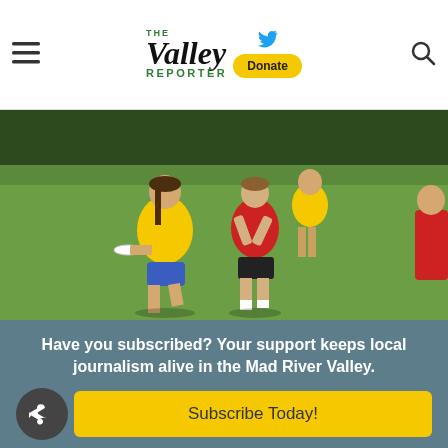The Valley Reporter — Donate — [menu] [search]
[Figure (photo): Outdoor ultimate frisbee game on a grass field. A girl in a yellow shirt and blue shorts holds a white frisbee while running barefoot. A girl in a red shirt and black shorts faces her defensively. In the background, a young man in a yellow shirt and a person in a red shirt are visible. Trees and a fence line the background.]
Have you subscribed? Your support keeps local journalism alive in the Mad River Valley.
Subscribe Today!